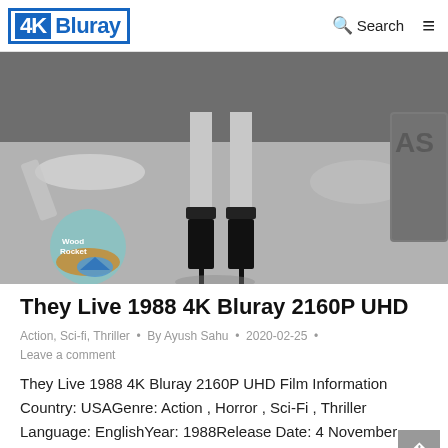4K Bluray | Search
[Figure (photo): Black and white photo of a person's legs wearing high heels on a concrete floor with debris in the background. A Woodrocket logo watermark is visible in the lower left.]
They Live 1988 4K Bluray 2160P UHD
Action, Sci-fi, Thriller • By Ayush Sahu • 2020-02-25 • Leave a comment
They Live 1988 4K Bluray 2160P UHD Film Information Country: USAGenre: Action , Horror , Sci-Fi , Thriller Language: EnglishYear: 1988Release Date: 4 November 1998 (USA)Runtime: 94minIMDB